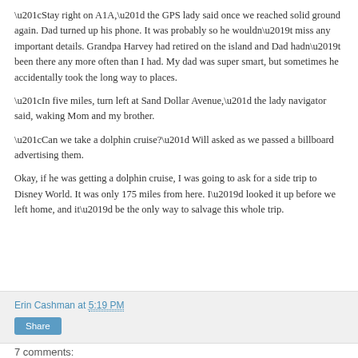“Stay right on A1A,” the GPS lady said once we reached solid ground again. Dad turned up his phone. It was probably so he wouldn’t miss any important details. Grandpa Harvey had retired on the island and Dad hadn’t been there any more often than I had. My dad was super smart, but sometimes he accidentally took the long way to places.
“In five miles, turn left at Sand Dollar Avenue,” the lady navigator said, waking Mom and my brother.
“Can we take a dolphin cruise?” Will asked as we passed a billboard advertising them.
Okay, if he was getting a dolphin cruise, I was going to ask for a side trip to Disney World. It was only 175 miles from here. I’d looked it up before we left home, and it’d be the only way to salvage this whole trip.
Erin Cashman at 5:19 PM
Share
7 comments: